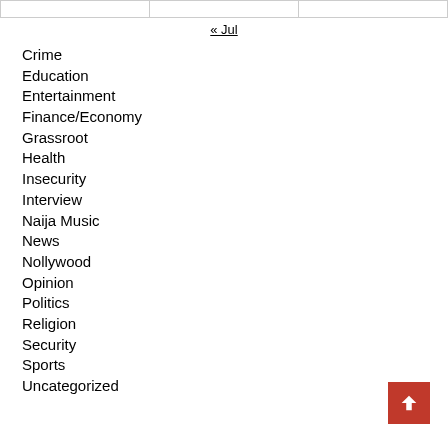|   |   |   |
« Jul
Crime
Education
Entertainment
Finance/Economy
Grassroot
Health
Insecurity
Interview
Naija Music
News
Nollywood
Opinion
Politics
Religion
Security
Sports
Uncategorized